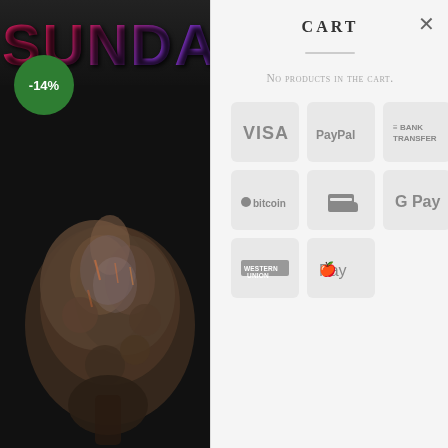[Figure (screenshot): Left panel showing a cannabis product page with SUNDA branding banner at top in pink/purple gradient text, a green circle badge showing -14% discount, and a cannabis bud photograph on dark background below]
CART
No products in the cart.
[Figure (infographic): Payment method icons grid showing: VISA, PayPal, Bank Transfer, Bitcoin, card/transfer icon, G Pay, Western Union, Apple Pay - all displayed as grey rounded square badges in a 3x3 grid]